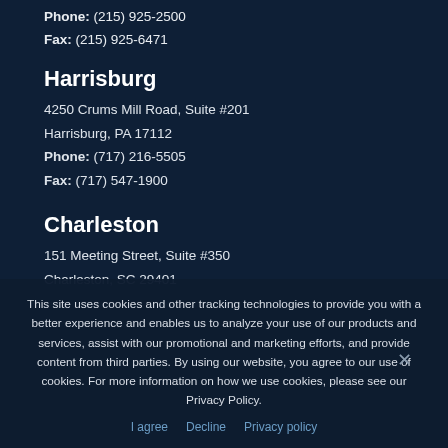Phone: (215) 925-2500
Fax: (215) 925-6471
Harrisburg
4250 Crums Mill Road, Suite #201
Harrisburg, PA 17112
Phone: (717) 216-5505
Fax: (717) 547-1900
Charleston
151 Meeting Street, Suite #350
Charleston, SC 29401
This site uses cookies and other tracking technologies to provide you with a better experience and enables us to analyze your use of our products and services, assist with our promotional and marketing efforts, and provide content from third parties. By using our website, you agree to our use of cookies. For more information on how we use cookies, please see our Privacy Policy.
I agree   Decline   Privacy policy